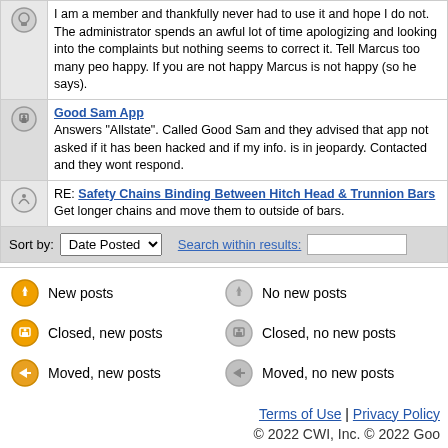I am a member and thankfully never had to use it and hope I do not. The administrator spends an awful lot of time apologizing and looking into the complaints but nothing seems to correct it. Tell Marcus too many people not happy. If you are not happy Marcus is not happy (so he says).
Good Sam App
Answers "Allstate". Called Good Sam and they advised that app not asked if it has been hacked and if my info. is in jeopardy. Contacted and they wont respond.
RE: Safety Chains Binding Between Hitch Head & Trunnion Bars
Get longer chains and move them to outside of bars.
Sort by: Date Posted   Search within results:
New posts
No new posts
Closed, new posts
Closed, no new posts
Moved, new posts
Moved, no new posts
Terms of Use | Privacy Policy
© 2022 CWI, Inc. © 2022 Good Sam